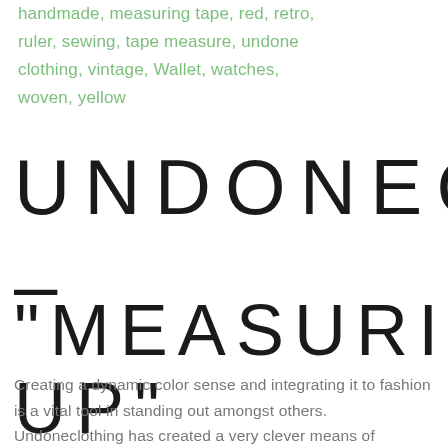handmade, measuring tape, red, retro, ruler, sewing, tape measure, undone clothing, vintage, Wallet, watches, woven, yellow
UNDONECLOTHING
–
"MEASURING UP"
Creating a dynamic color sense and integrating it to fashion is a vital tool in standing out amongst others. Undoneclothing has created a very clever means of brightening up an